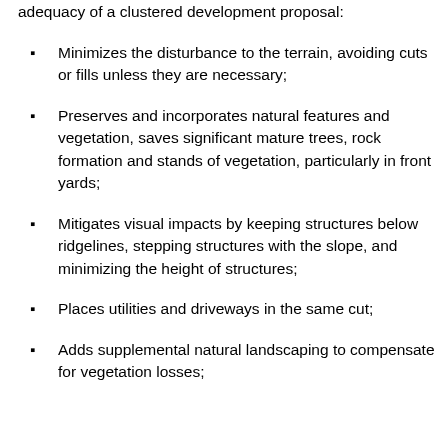adequacy of a clustered development proposal:
Minimizes the disturbance to the terrain, avoiding cuts or fills unless they are necessary;
Preserves and incorporates natural features and vegetation, saves significant mature trees, rock formation and stands of vegetation, particularly in front yards;
Mitigates visual impacts by keeping structures below ridgelines, stepping structures with the slope, and minimizing the height of structures;
Places utilities and driveways in the same cut;
Adds supplemental natural landscaping to compensate for vegetation losses;